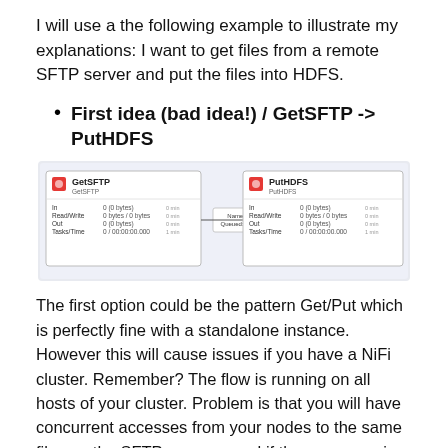I will use a the following example to illustrate my explanations: I want to get files from a remote SFTP server and put the files into HDFS.
First idea (bad idea!) / GetSFTP -> PutHDFS
[Figure (screenshot): A screenshot of a NiFi flow showing GetSFTP processor connected via 'Name success' relationship to PutHDFS processor. Both processors show stats including In, Read/Write, Out, Tasks/Time fields.]
The first option could be the pattern Get/Put which is perfectly fine with a standalone instance. However this will cause issues if you have a NiFi cluster. Remember? The flow is running on all hosts of your cluster. Problem is that you will have concurrent accesses from your nodes to the same files on the SFTP server… and if the processor is configured to delete the file once retrieved (default behavior) you